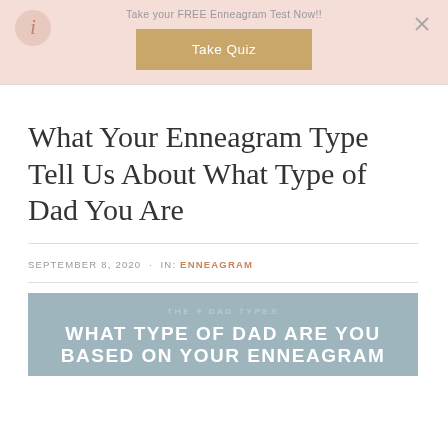Take your FREE Enneagram Test Now!!
[Figure (other): Take Quiz button on pink banner with logo]
What Your Enneagram Type Tell Us About What Type of Dad You Are
SEPTEMBER 8, 2020 · IN: ENNEAGRAM
[Figure (other): THE 9 DAD TYPES — WHAT TYPE OF DAD ARE YOU BASED ON YOUR ENNEAGRAM — blue-grey background image block]